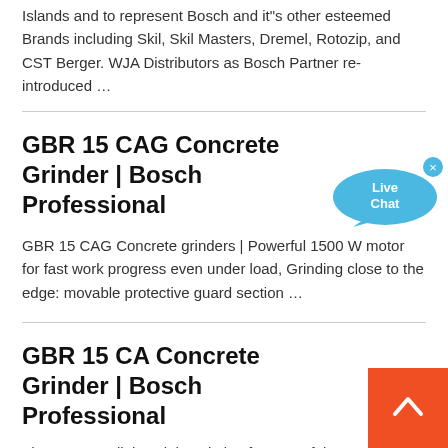Islands and to represent Bosch and it"s other esteemed Brands including Skil, Skil Masters, Dremel, Rotozip, and CST Berger. WJA Distributors as Bosch Partner re-introduced …
GBR 15 CAG Concrete Grinder | Bosch Professional
GBR 15 CAG Concrete grinders | Powerful 1500 W motor for fast work progress even under load, Grinding close to the edge: movable protective guard section …
GBR 15 CA Concrete Grinder | Bosch Professional
The compact, lightweight solution for powerful concrete